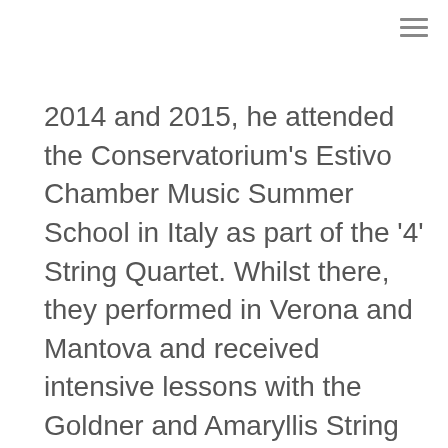2014 and 2015, he attended the Conservatorium's Estivo Chamber Music Summer School in Italy as part of the '4' String Quartet. Whilst there, they performed in Verona and Mantova and received intensive lessons with the Goldner and Amaryllis String Quartets. The quartet have performed on Channel 9's Today Show, Fine Music 102.5FM, the Sydney TedX talk and were finalists in the 2014 Musica Viva Chamber Music Awards. He is also the violist in the Musica Intima Ensemble, a quartet that aims to perform a broad range of classical repertoire to all sorts of audiences in small salon style venues. Nathan has participated in masterclasses with Lang Lang, Vadim Gluzman, Wolfram Christ, Paul Silverthorne, Carolin Widman, Ivo-Jan van der Werff